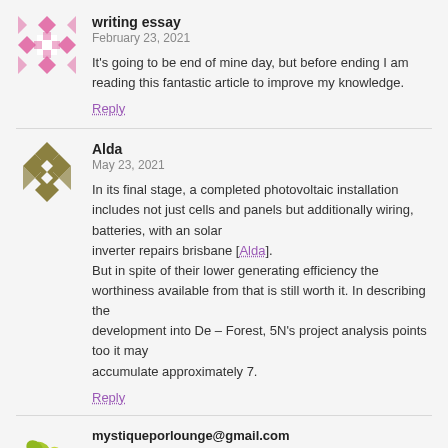[Figure (illustration): Pink mosaic/diamond pattern avatar icon for user 'writing essay']
writing essay
February 23, 2021
It's going to be end of mine day, but before ending I am reading this fantastic article to improve my knowledge.
Reply
[Figure (illustration): Olive/dark yellow diamond cross pattern avatar icon for user 'Alda']
Alda
May 23, 2021
In its final stage, a completed photovoltaic installation includes not just cells and panels but additionally wiring, batteries, with an solar inverter repairs brisbane [Alda]. But in spite of their lower generating efficiency the worthiness available from that is still worth it. In describing the development into De – Forest, 5N's project analysis points too it may accumulate approximately 7.
Reply
[Figure (illustration): Partial green leaf/plant avatar icon for user 'mystiqueporlounge@gmail.com']
mystiqueporlounge@gmail.com